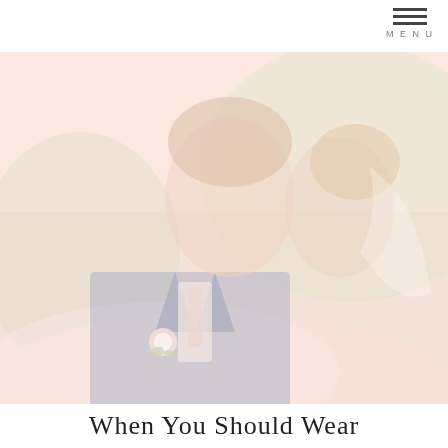MENU
[Figure (photo): A romantic close-up of a bride and groom nearly kissing outdoors. The groom wears a blue suit with a boutonnière featuring white flowers and greenery. The bride wears white and has a veil billowing in the wind. The background is a soft, blurred green field. The image is light and airy with a very pale, washed-out pinkish tone overlay.]
When You Should Wear